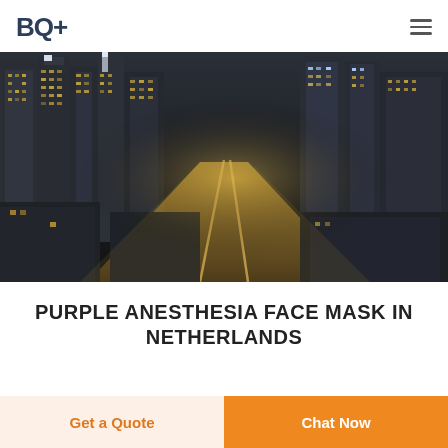BQ+
[Figure (photo): Night aerial cityscape with lit skyscrapers and a glowing street boulevard stretching into distance, desaturated HDR tone.]
PURPLE ANESTHESIA FACE MASK IN NETHERLANDS
Get a Quote
Chat Now